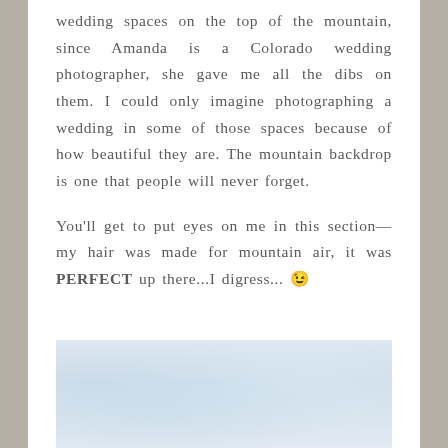wedding spaces on the top of the mountain, since Amanda is a Colorado wedding photographer, she gave me all the dibs on them. I could only imagine photographing a wedding in some of those spaces because of how beautiful they are. The mountain backdrop is one that people will never forget.

You'll get to put eyes on me in this section—my hair was made for mountain air, it was PERFECT up there...I digress... 😊
[Figure (photo): A light, airy photograph showing a mountain or cloudy sky scene with pale blue and white tones.]